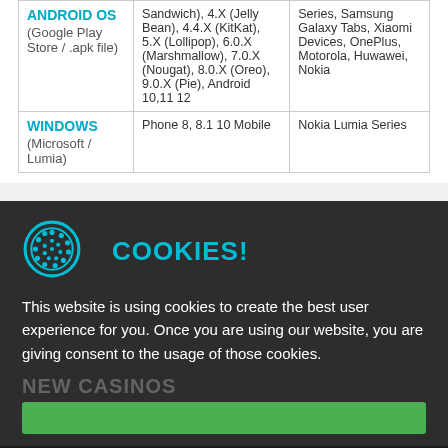| OS | Versions | Devices |
| --- | --- | --- |
| ANDROID OS
(Google Play Store / .apk file) | Sandwich), 4.X (Jelly Bean), 4.4.X (KitKat), 5.X (Lollipop), 6.0.X (Marshmallow), 7.0.X (Nougat), 8.0.X (Oreo), 9.0.X (Pie), Android 10,11 12 | Series, Samsung Galaxy Tabs, Xiaomi Devices, OnePlus, Motorola, Huwawei, Nokia |
| WINDOWS
(Microsoft / Lumia) | Phone 8, 8.1 10 Mobile | Nokia Lumia Series |
[Figure (illustration): Cookie icon - circular badge with dots pattern in teal/cyan color]
COOKIES!
This website is using cookies to create the best user experience for you. Once you are using our website, you are giving consent to the usage of those cookies.
CHERRY WINS MOBILE
International Players accepted
PLAY MOBILE